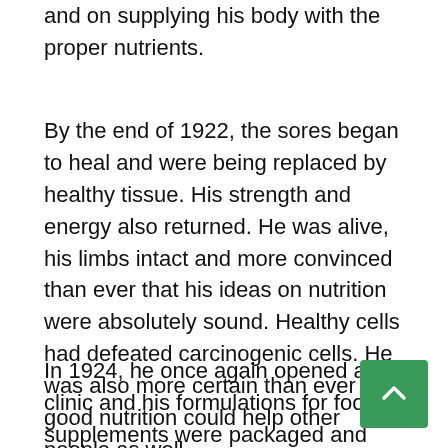and on supplying his body with the proper nutrients.
By the end of 1922, the sores began to heal and were being replaced by healthy tissue. His strength and energy also returned. He was alive, his limbs intact and more convinced than ever that his ideas on nutrition were absolutely sound. Healthy cells had defeated carcinogenic cells. He was also more certain than ever that good nutrition could help other people as well.
In 1924, he once again opened a clinic and his formulations for food supplements were packaged and dispensed to patients. In 1929 the clinic burned down. All records were lost. Everything